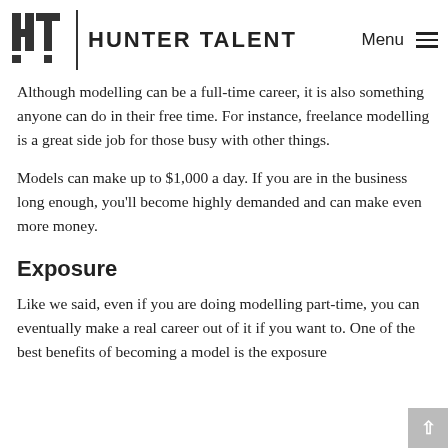HUNTER TALENT | Menu
Although modelling can be a full-time career, it is also something anyone can do in their free time. For instance, freelance modelling is a great side job for those busy with other things.
Models can make up to $1,000 a day. If you are in the business long enough, you’ll become highly demanded and can make even more money.
Exposure
Like we said, even if you are doing modelling part-time, you can eventually make a real career out of it if you want to. One of the best benefits of becoming a model is the exposure